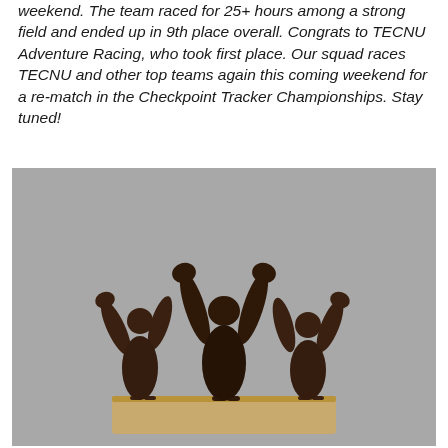weekend. The team raced for 25+ hours among a strong field and ended up in 9th place overall. Congrats to TECNU Adventure Racing, who took first place. Our squad races TECNU and other top teams again this coming weekend for a re-match in the Checkpoint Tracker Championships. Stay tuned!
[Figure (photo): A bronze sculpture of three human figures with arms raised in celebration, mounted on a wooden base, photographed on a gray surface.]